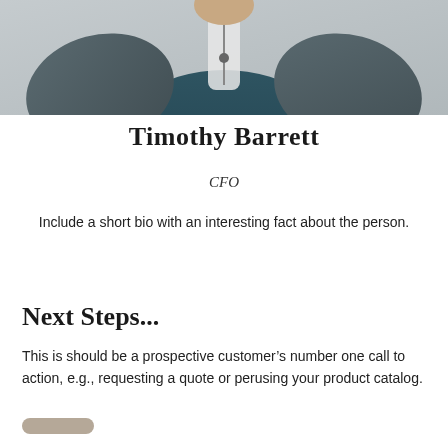[Figure (photo): Photo of Timothy Barrett, a man wearing a dark teal zip-up jacket with grey textured sleeves, cropped to show torso and partial face]
Timothy Barrett
CFO
Include a short bio with an interesting fact about the person.
Next Steps...
This is should be a prospective customer's number one call to action, e.g., requesting a quote or perusing your product catalog.